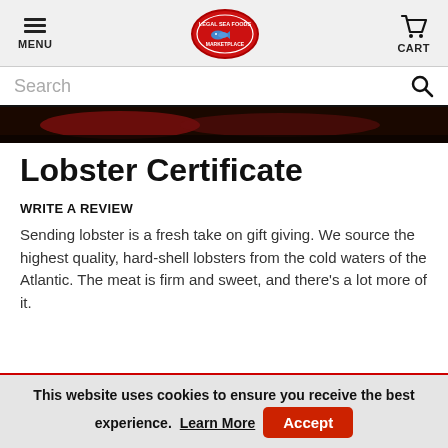MENU | Legal Sea Foods Marketplace | CART
[Figure (screenshot): Search bar with placeholder text 'Search' and magnifying glass icon]
[Figure (photo): Dark hero image strip showing lobster]
Lobster Certificate
WRITE A REVIEW
Sending lobster is a fresh take on gift giving. We source the highest quality, hard-shell lobsters from the cold waters of the Atlantic. The meat is firm and sweet, and there's a lot more of it.
This website uses cookies to ensure you receive the best experience. Learn More  Accept